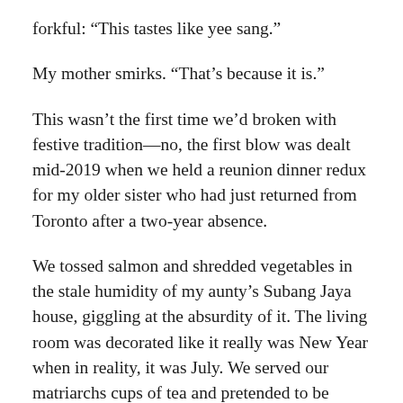forkful: “This tastes like yee sang.”
My mother smirks. “That’s because it is.”
This wasn’t the first time we’d broken with festive tradition—no, the first blow was dealt mid-2019 when we held a reunion dinner redux for my older sister who had just returned from Toronto after a two-year absence.
We tossed salmon and shredded vegetables in the stale humidity of my aunty’s Subang Jaya house, giggling at the absurdity of it. The living room was decorated like it really was New Year when in reality, it was July. We served our matriarchs cups of tea and pretended to be fluent in the Cantonese blessings that we knew by sound, not speech. We set off the firecrackers saved from months before. We had the exact same menu as